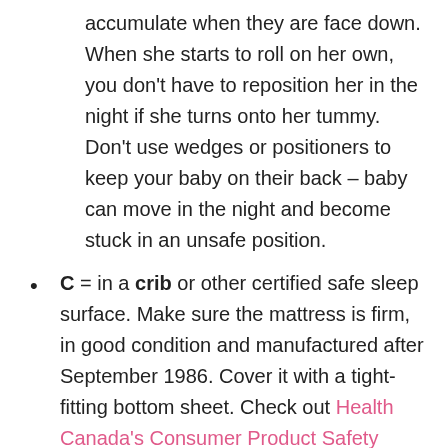accumulate when they are face down. When she starts to roll on her own, you don't have to reposition her in the night if she turns onto her tummy. Don't use wedges or positioners to keep your baby on their back – baby can move in the night and become stuck in an unsafe position.
C = in a crib or other certified safe sleep surface. Make sure the mattress is firm, in good condition and manufactured after September 1986. Cover it with a tight-fitting bottom sheet. Check out Health Canada's Consumer Product Safety website to find out if your child's sleep equipment meets current